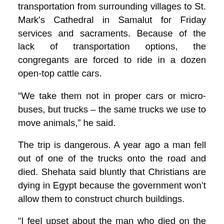transportation from surrounding villages to St. Mark's Cathedral in Samalut for Friday services and sacraments. Because of the lack of transportation options, the congregants are forced to ride in a dozen open-top cattle cars.
“We take them not in proper cars or micro-buses, but trucks – the same trucks we use to move animals,” he said.
The trip is dangerous. A year ago a man fell out of one of the trucks onto the road and died. Shehata said bluntly that Christians are dying in Egypt because the government won’t allow them to construct church buildings.
“I feel upset about the man who died on the way going to church,” he said.